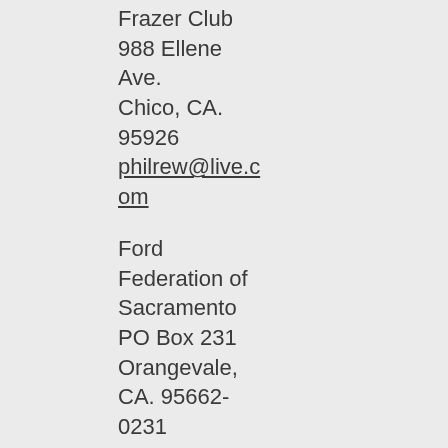Frazer Club
988 Ellene Ave.
Chico, CA. 95926
philrew@live.com
Ford Federation of Sacramento
PO Box 231
Orangevale, CA. 95662-0231
fordfederation@yahoo.com
Franklin Syndicate Auto Club